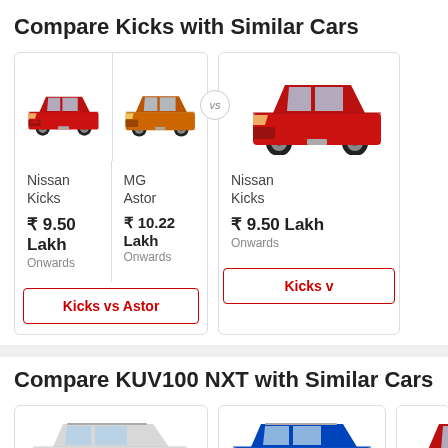Compare Kicks with Similar Cars
[Figure (photo): Nissan Kicks (red SUV) and MG Astor (orange SUV) car comparison cards with prices and compare button]
Nissan Kicks
₹ 9.50 Lakh
Onwards
MG Astor
₹ 10.22 Lakh
Onwards
Kicks vs Astor
Nissan Kicks
₹ 9.50 Lakh
Onwards
Kicks v
Compare KUV100 NXT with Similar Cars
[Figure (photo): Partial car comparison cards for KUV100 NXT section showing white, blue, and partial red/dark SUV images]